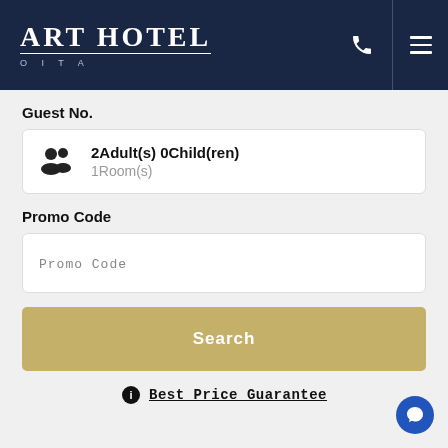Art Hotel OITA
Guest No.
2Adult(s) 0Child(ren) 1Room(s)
Promo Code
Promo Code
Search
Best Price Guarantee